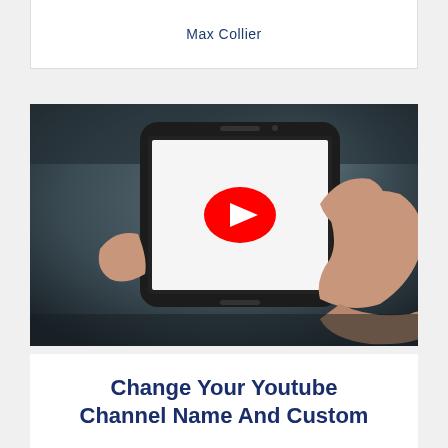Max Collier
[Figure (photo): A hand holding a smartphone displaying the YouTube app logo (red play button on white screen), against a dark blurred background.]
Change Your Youtube Channel Name And Custom